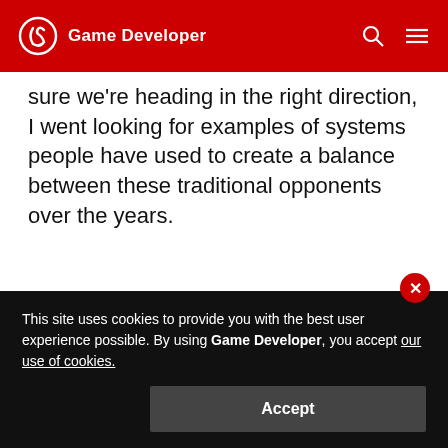Game Developer
sure we're heading in the right direction, I went looking for examples of systems people have used to create a balance between these traditional opponents over the years.
The first system that caught my attention
[Figure (photo): A broken/unloaded image placeholder with a small broken image icon in the top left corner, shown inside a bordered rectangle.]
This site uses cookies to provide you with the best user experience possible. By using Game Developer, you accept our use of cookies.